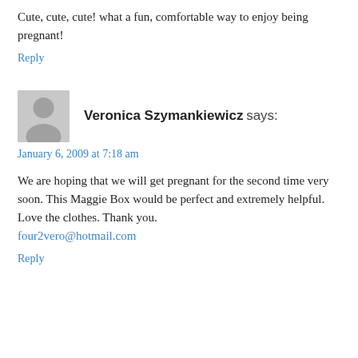Cute, cute, cute! what a fun, comfortable way to enjoy being pregnant!
Reply
[Figure (illustration): Gray avatar/profile placeholder image showing a silhouette of a person]
Veronica Szymankiewicz says:
January 6, 2009 at 7:18 am
We are hoping that we will get pregnant for the second time very soon. This Maggie Box would be perfect and extremely helpful. Love the clothes. Thank you.
four2vero@hotmail.com
Reply